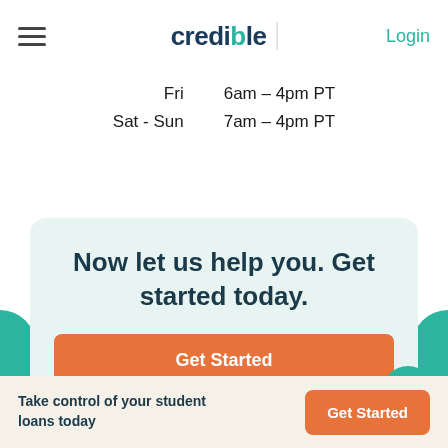credible | Login
| Day | Hours |
| --- | --- |
| Fri | 6am – 4pm PT |
| Sat - Sun | 7am – 4pm PT |
Now let us help you. Get started today.
Get Started
Take control of your student loans today
Get Started